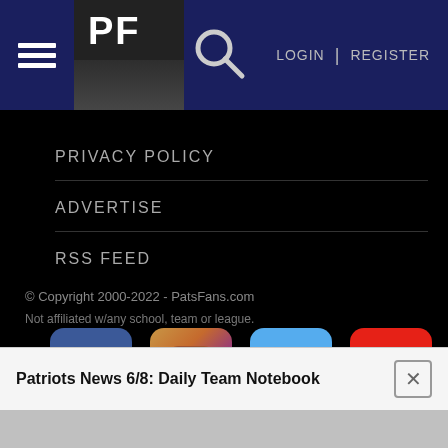PF | LOGIN | REGISTER
PRIVACY POLICY
ADVERTISE
RSS FEED
[Figure (illustration): Four social media icons: Facebook (blue), Instagram (gradient brown/purple), Twitter (blue), YouTube (red)]
© Copyright 2000-2022 - PatsFans.com
Not affiliated w/any school, team or league.
Patriots News 6/8: Daily Team Notebook